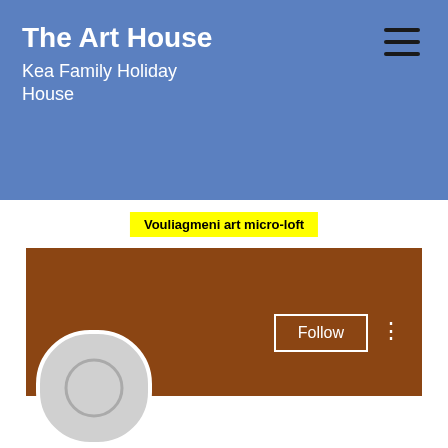The Art House
Kea Family Holiday House
Vouliagmeni art micro-loft
[Figure (screenshot): Brown profile banner with Follow button and three-dot menu]
[Figure (photo): Grey avatar/profile circle placeholder]
Online casino 1250 free
0 Followers • 0 Following
Phone   Email   Address